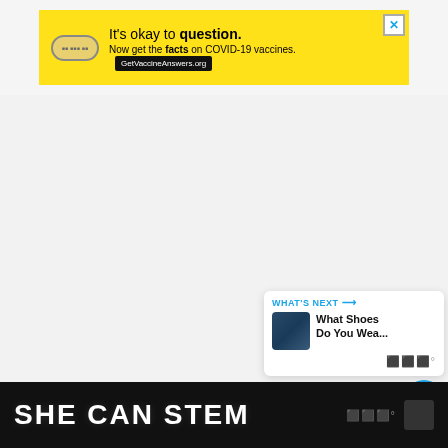[Figure (other): Yellow advertisement banner for COVID-19 vaccine information. Text reads: 'It’s okay to question. Now get the facts on COVID-19 vaccines. GetVaccineAnswers.org'. Has a bandage icon on the left and a close X button in the top-right corner.]
[Figure (other): Large blank whitespace/content area with light gray background, representing a webpage article body area.]
[Figure (other): Floating action buttons on the right side: blue heart/like button, count showing '1', and a share button.]
[Figure (other): What's Next card showing a thumbnail image and title 'What Shoes Do You Wea...' with label 'WHAT’S NEXT →'.]
SHE CAN STEM
[Figure (logo): Wibbitz logo (stylized dots/wave) and dark square icon in the bottom right of the bottom banner.]